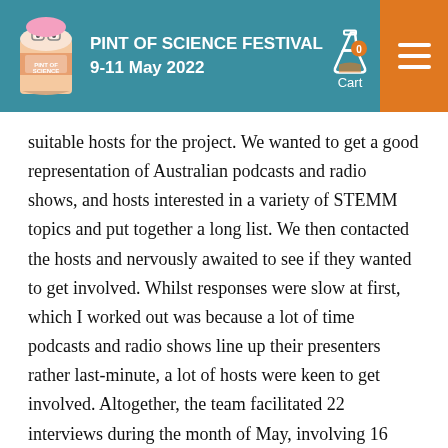PINT OF SCIENCE FESTIVAL 9-11 May 2022
suitable hosts for the project. We wanted to get a good representation of Australian podcasts and radio shows, and hosts interested in a variety of STEMM topics and put together a long list. We then contacted the hosts and nervously awaited to see if they wanted to get involved. Whilst responses were slow at first, which I worked out was because a lot of time podcasts and radio shows line up their presenters rather last-minute, a lot of hosts were keen to get involved. Altogether, the team facilitated 22 interviews during the month of May, involving 16 different hosts, with some of them wanting to organise several interviews to cover a wide range of topics.
Our next task was to research whom, amongst the many